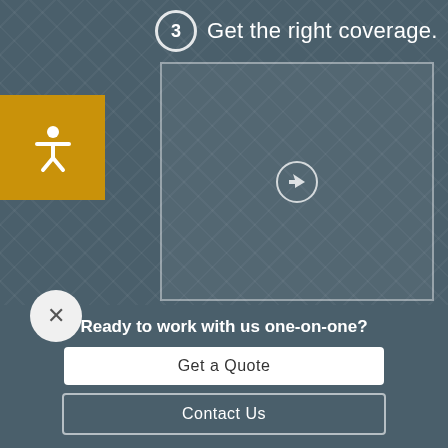3 Get the right coverage.
[Figure (screenshot): Video thumbnail placeholder with a circular play/cursor icon centered on a dark teal diamond-pattern background]
Ready to work with us one-on-one?
Get a Quote
Contact Us